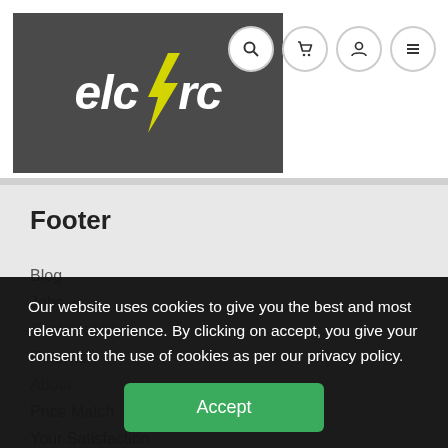[Figure (logo): elc⚡rc logo on dark grey background with yellow lightning bolt replacing the 'o' in 'elcorc']
[Figure (infographic): Four circular nav icons: search, cart, user, menu (hamburger)]
Footer
Blog
Jobs
Sustainability
Returns
About
Price Match
Your Satisfaction
Data Protection Policy
Welcome to Elcrc
Our website uses cookies to give you the best and most relevant experience. By clicking on accept, you give your consent to the use of cookies as per our privacy policy.